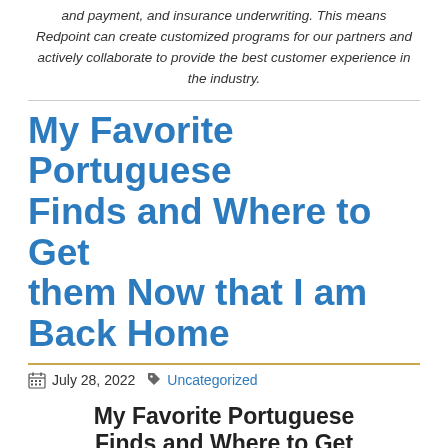and payment, and insurance underwriting. This means Redpoint can create customized programs for our partners and actively collaborate to provide the best customer experience in the industry.
My Favorite Portuguese Finds and Where to Get them Now that I am Back Home
July 28, 2022  Uncategorized
My Favorite Portuguese Finds and Where to Get